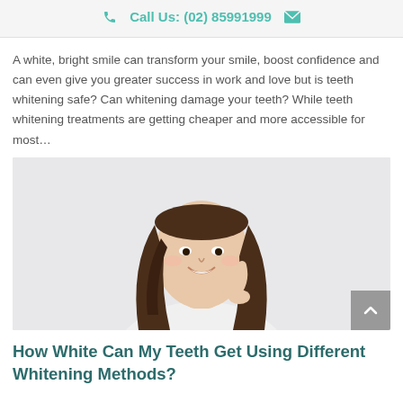Call Us: (02) 85991999
A white, bright smile can transform your smile, boost confidence and can even give you greater success in work and love but is teeth whitening safe? Can whitening damage your teeth? While teeth whitening treatments are getting cheaper and more accessible for most...
[Figure (photo): Smiling young Asian woman with long brown hair, wearing white, holding a strand of hair, photographed against a light grey background.]
How White Can My Teeth Get Using Different Whitening Methods?